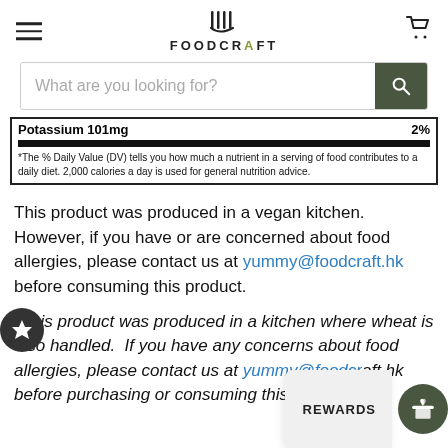FOODCRAFT
[Figure (screenshot): Search bar with placeholder text 'What are you looking for?' and dark green search button with magnifying glass icon]
| Potassium  101mg | 2% |
| *The % Daily Value (DV) tells you how much a nutrient in a serving of food contributes to a daily diet. 2,000 calories a day is used for general nutrition advice. |  |
This product was produced in a vegan kitchen.  However, if you have or are concerned about food allergies, please contact us at yummy@foodcraft.hk before consuming this product.
*This product was produced in a kitchen where wheat is also handled.  If you have any concerns about food allergies, please contact us at yummy@foodcraft.hk before purchasing or consuming this product.